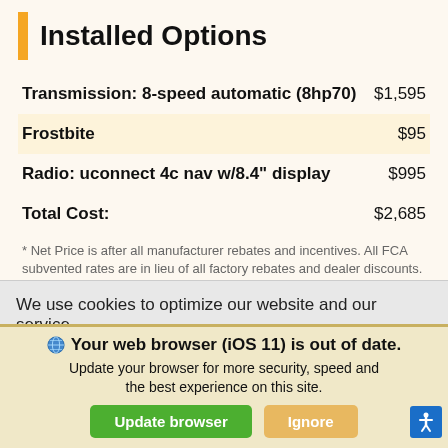Installed Options
| Option | Price |
| --- | --- |
| Transmission: 8-speed automatic (8hp70) | $1,595 |
| Frostbite | $95 |
| Radio: uconnect 4c nav w/8.4" display | $995 |
| Total Cost: | $2,685 |
* Net Price is after all manufacturer rebates and incentives. All FCA subvented rates are in lieu of all factory rebates and dealer discounts. All posted rebates and discounts are for California
We use cookies to optimize our website and our service.
Cookie Policy   Privacy Statement
Your web browser (iOS 11) is out of date. Update your browser for more security, speed and the best experience on this site.